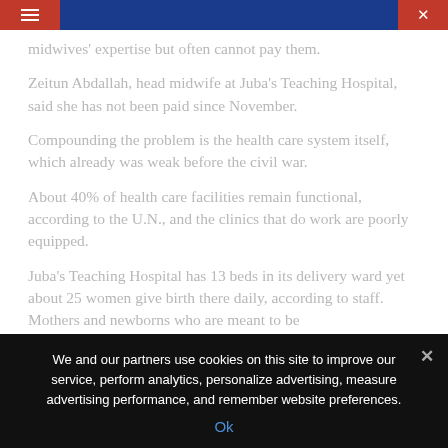Navigation bar with hamburger menu and search icon
midwives' expertise but often cannot pay them.
Zeitun Abdallah, head midwife at Juba's Teaching Hospital, said she has not been paid since November.
Compounding the problem is the health care system itself, which already was weak before the civil war.
About 40% of health care facilities remain functional, according to the U.N., and the clinics that do work are poorly equipped.
Juba's Teaching Hospital has 13 beds in its delivery ward yet about 25 women give birth there daily, according to staff. Mothers and newborns who are meant to be
We and our partners use cookies on this site to improve our service, perform analytics, personalize advertising, measure advertising performance, and remember website preferences.
Ok